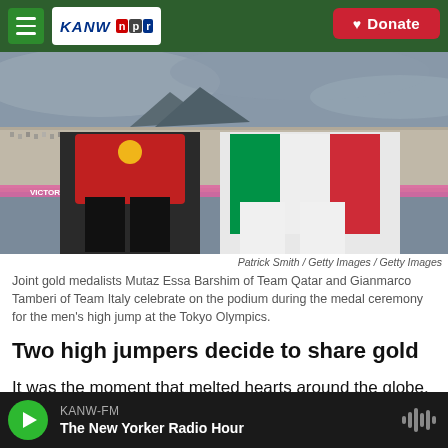KANW NPR — Donate
[Figure (photo): Two athletes on a podium at the Tokyo Olympics. One in red holding a gold medal, the other wearing a white outfit with Italian flag colors. Stadium crowd visible in background.]
Patrick Smith / Getty Images / Getty Images
Joint gold medalists Mutaz Essa Barshim of Team Qatar and Gianmarco Tamberi of Team Italy celebrate on the podium during the medal ceremony for the men's high jump at the Tokyo Olympics.
Two high jumpers decide to share gold
It was the moment that melted hearts around the globe. Two high jumpers competed for hours but neither bested the other at end of brooklin into
KANW-FM The New Yorker Radio Hour